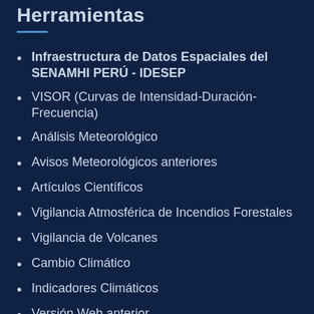Herramientas
Infraestructura de Datos Espaciales del SENAMHI PERÚ - IDESEP
VISOR (Curvas de Intensidad-Duración-Frecuencia)
Análisis Meteorológico
Avisos Meteorológicos anteriores
Artículos Científicos
Vigilancia Atmosférica de Incendios Forestales
Vigilancia de Volcanes
Cambio Climático
Indicadores Climáticos
Versión Web anterior